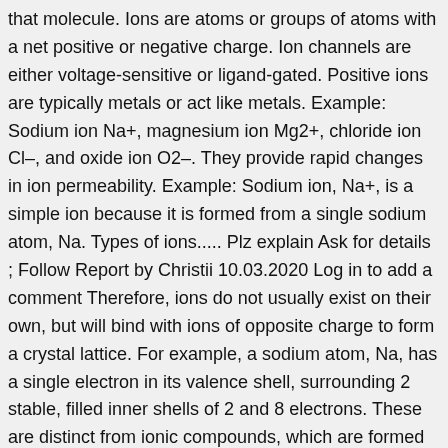that molecule. Ions are atoms or groups of atoms with a net positive or negative charge. Ion channels are either voltage-sensitive or ligand-gated. Positive ions are typically metals or act like metals. Example: Sodium ion Na+, magnesium ion Mg2+, chloride ion Cl–, and oxide ion O2–. They provide rapid changes in ion permeability. Example: Sodium ion, Na+, is a simple ion because it is formed from a single sodium atom, Na. Types of ions..... Plz explain Ask for details ; Follow Report by Christii 10.03.2020 Log in to add a comment Therefore, ions do not usually exist on their own, but will bind with ions of opposite charge to form a crystal lattice. For example, a sodium atom, Na, has a single electron in its valence shell, surrounding 2 stable, filled inner shells of 2 and 8 electrons. These are distinct from ionic compounds, which are formed when positively charged ions bond with negatively charged ions. This term was introduced (after a suggestion by the English polymath William Whewell[3]) by English physicist and chemist Michael Faraday in 1834 for the then-unknown species that goes from one electrode to the